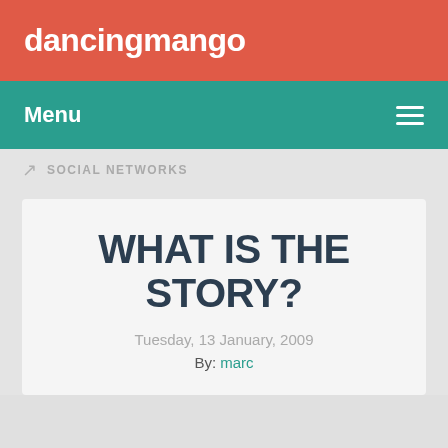dancingmango
Menu
SOCIAL NETWORKS
WHAT IS THE STORY?
Tuesday, 13 January, 2009
By: marc